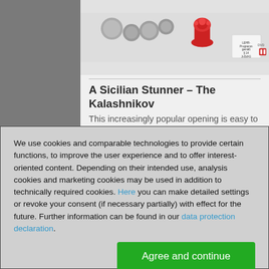[Figure (screenshot): Webpage showing chess product listings. Center column shows a chess DVD product with chess piece images. Left and right columns show gray sidebar areas. Right column partially shows another product with orange 'fritz' branding.]
A Sicilian Stunner – The Kalashnikov
This increasingly popular opening is easy to pick up
The Schev
We use cookies and comparable technologies to provide certain functions, to improve the user experience and to offer interest-oriented content. Depending on their intended use, analysis cookies and marketing cookies may be used in addition to technically required cookies. Here you can make detailed settings or revoke your consent (if necessary partially) with effect for the future. Further information can be found in our data protection declaration.